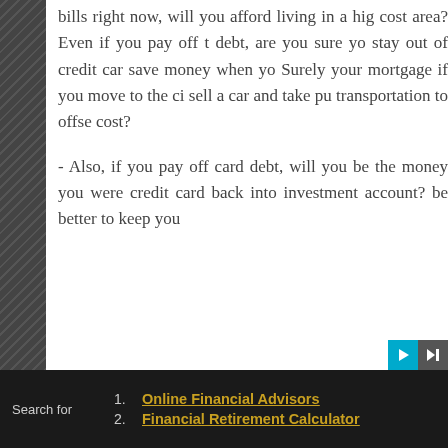bills right now, will you afford living in a high cost area? Even if you pay off the debt, are you sure you can stay out of credit card debt, save money when you need to? Surely your mortgage is lower if you move to the city, sell a car and take public transportation to offset that cost?
- Also, if you pay off credit card debt, will you be putting the money you were paying credit card back into an investment account? It might be better to keep you
Online Financial Advisors
Financial Retirement Calculator